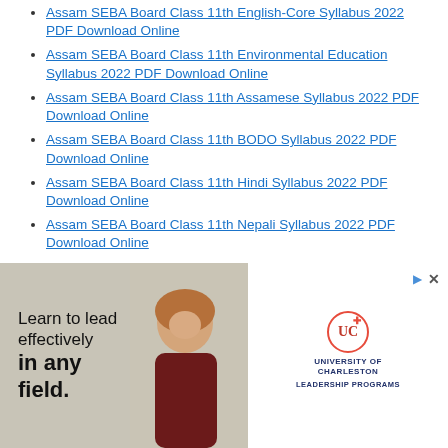Assam SEBA Board Class 11th English-Core Syllabus 2022 PDF Download Online
Assam SEBA Board Class 11th Environmental Education Syllabus 2022 PDF Download Online
Assam SEBA Board Class 11th Assamese Syllabus 2022 PDF Download Online
Assam SEBA Board Class 11th BODO Syllabus 2022 PDF Download Online
Assam SEBA Board Class 11th Hindi Syllabus 2022 PDF Download Online
Assam SEBA Board Class 11th Nepali Syllabus 2022 PDF Download Online
Assam SEBA Board Class 11th Urdu Syllabus 2022 PDF Download Online
Assam SEBA Board Class 11th Khasi Syllabus 2022 PDF Download Online
Assam SEBA Board Class 11th Garo Syllabus 2022 PDF Download Online
Assam SEBA Board Class 11th [partially obscured] PDF Download Online
Assam SEBA Board Class 11th [partially obscured] IDF Download Online
[Figure (photo): Advertisement overlay: University of Charleston Leadership Programs ad with woman smiling and text 'Learn to lead effectively in any field.']